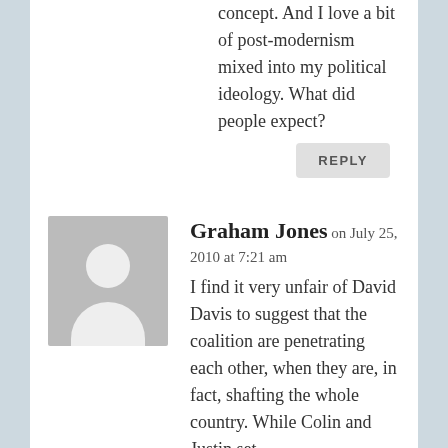concept. And I love a bit of post-modernism mixed into my political ideology. What did people expect?
REPLY
Graham Jones on July 25, 2010 at 7:21 am
I find it very unfair of David Davis to suggest that the coalition are penetrating each other, when they are, in fact, shafting the whole country. While Colin and Justin set